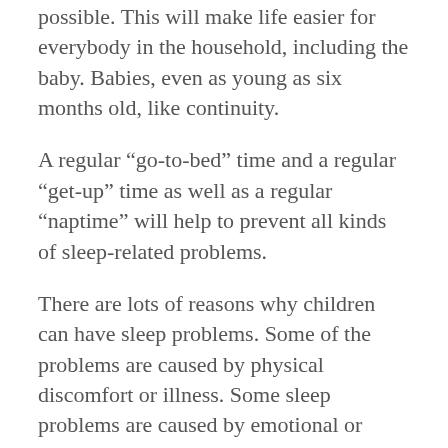possible. This will make life easier for everybody in the household, including the baby. Babies, even as young as six months old, like continuity.
A regular “go-to-bed” time and a regular “get-up” time as well as a regular “naptime” will help to prevent all kinds of sleep-related problems.
There are lots of reasons why children can have sleep problems. Some of the problems are caused by physical discomfort or illness. Some sleep problems are caused by emotional or developmental problems that might seem totally unrelated to sleep. If your child is consistently unable to sleep (and consistently is the operative word here) it is best to talk to your pediatrician about the problem and have